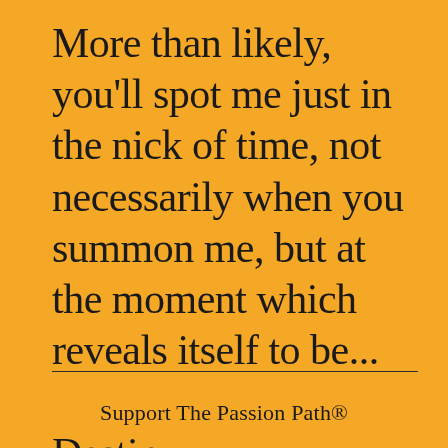More than likely, you'll spot me just in the nick of time, not necessarily when you summon me, but at the moment which reveals itself to be...

Destiny.
Support The Passion Path®